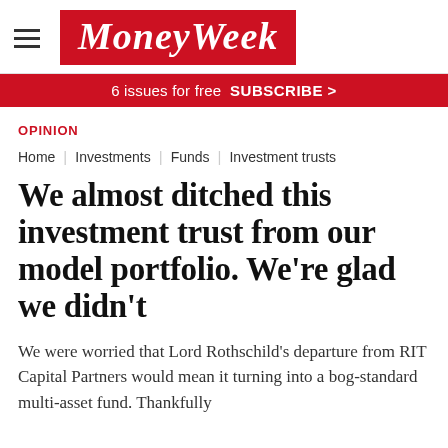[Figure (logo): MoneyWeek logo in red box with white italic serif text]
6 issues for free  SUBSCRIBE >
OPINION
Home | Investments | Funds | Investment trusts
We almost ditched this investment trust from our model portfolio. We're glad we didn't
We were worried that Lord Rothschild's departure from RIT Capital Partners would mean it turning into a bog-standard multi-asset fund. Thankfully